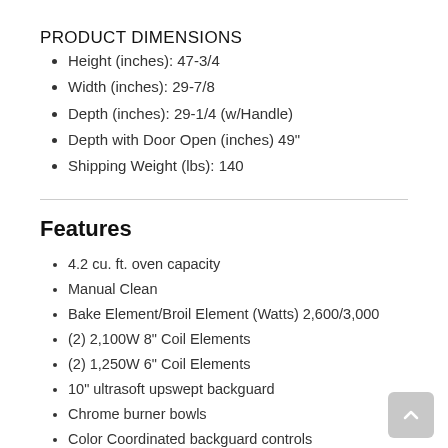PRODUCT DIMENSIONS
Height (inches): 47-3/4
Width (inches): 29-7/8
Depth (inches): 29-1/4 (w/Handle)
Depth with Door Open (inches) 49"
Shipping Weight (lbs): 140
Features
4.2 cu. ft. oven capacity
Manual Clean
Bake Element/Broil Element (Watts) 2,600/3,000
(2) 2,100W 8" Coil Elements
(2) 1,250W 6" Coil Elements
10" ultrasoft upswept backguard
Chrome burner bowls
Color Coordinated backguard controls